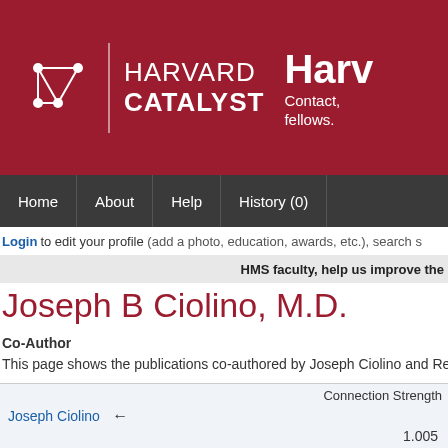[Figure (logo): Harvard Catalyst logo with network graph icon, text 'HARVARD CATALYST' and partial right side text 'Harv... Contact, fellows.']
Home | About | Help | History (0)
Login to edit your profile (add a photo, education, awards, etc.), search s
HMS faculty, help us improve the
Joseph B Ciolino, M.D.
Co-Author
This page shows the publications co-authored by Joseph Ciolino and Reza Da
|  | Connection Strength |
| --- | --- |
| Joseph Ciolino | 1.005 |